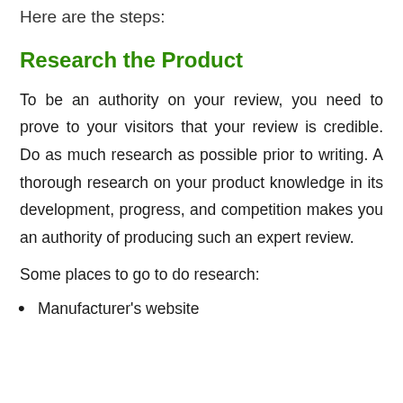Here are the steps:
Research the Product
To be an authority on your review, you need to prove to your visitors that your review is credible. Do as much research as possible prior to writing. A thorough research on your product knowledge in its development, progress, and competition makes you an authority of producing such an expert review.
Some places to go to do research:
Manufacturer's website